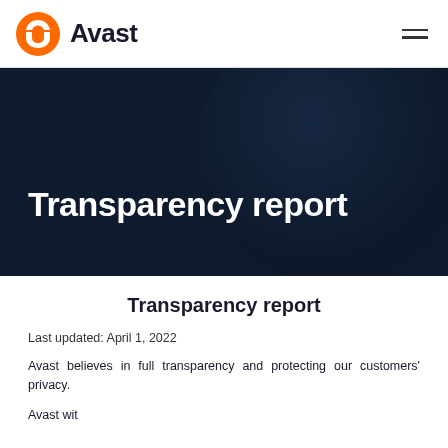Avast
[Figure (logo): Avast logo with orange shield icon and bold Avast wordmark, plus hamburger menu icon on the right]
Transparency report
Transparency report
Last updated: April 1, 2022
Avast believes in full transparency and protecting our customers' privacy.
Avast wit...